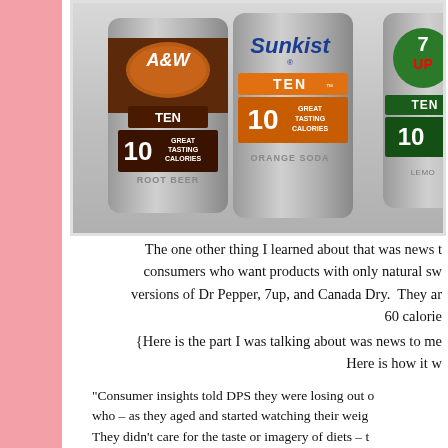[Figure (photo): Photo of three soda cans: A&W TEN Root Beer (10 great tasting calories), Sunkist TEN Orange Soda (10 great tasting calories), and a partial 7UP TEN can, arranged on a reflective surface]
The one other thing I learned about that was news to consumers who want products with only natural sw versions of Dr Pepper, 7up, and Canada Dry. They ar 60 calorie
{Here is the part I was talking about was news to me Here is how it w
"Consumer insights told DPS they were losing out o who – as they aged and started watching their weigh They didn't care for the taste or imagery of diets – t